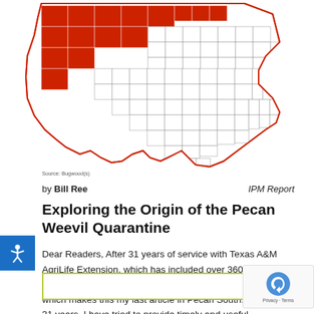[Figure (map): Map of Texas showing counties highlighted in red indicating areas under Pecan Weevil quarantine. The state outline is in red with internal county grid lines in black/grey. Several western and northern counties are shaded red.]
Source: Bugwood(s)
by Bill Ree   IPM Report
Exploring the Origin of the Pecan Weevil Quarantine
Dear Readers, After 31 years of service with Texas A&M AgriLife Extension, which has included over 360 Pecan South articles, I will be retiring at the end of August 2019 which makes this my last article in Pecan South. Over the 31 years, I have tried to provide timely and useful information for producers and...
READ MORE